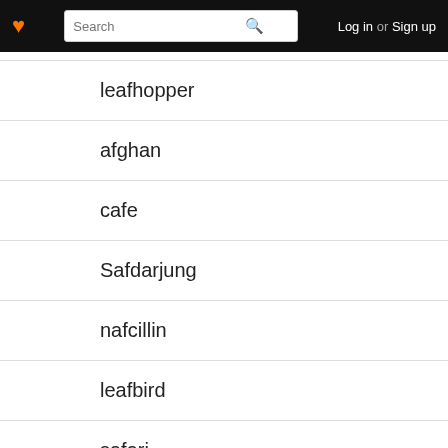Log in or Sign up
leafhopper
afghan
cafe
Safdarjung
nafcillin
leafbird
safari
praezygapophysis
Yaeyama